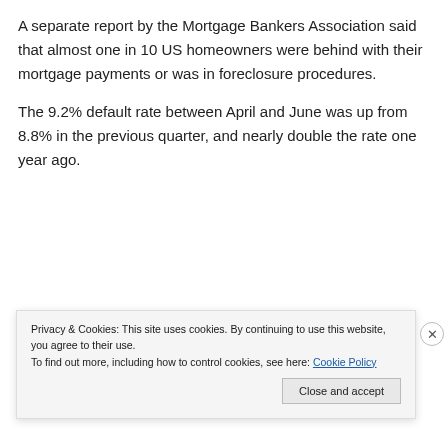A separate report by the Mortgage Bankers Association said that almost one in 10 US homeowners were behind with their mortgage payments or was in foreclosure procedures.
The 9.2% default rate between April and June was up from 8.8% in the previous quarter, and nearly double the rate one year ago.
[Figure (other): Advertisement banner with red background showing text 'everyone else's.' and a 'Start reading' button]
Privacy & Cookies: This site uses cookies. By continuing to use this website, you agree to their use.
To find out more, including how to control cookies, see here: Cookie Policy
Close and accept